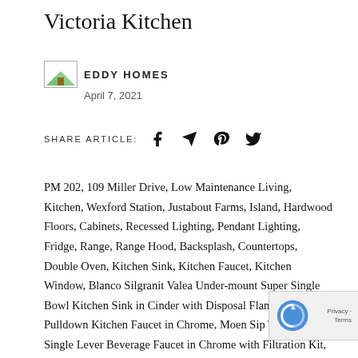Victoria Kitchen
EDDY HOMES
April 7, 2021
SHARE ARTICLE:
PM 202, 109 Miller Drive, Low Maintenance Living, Kitchen, Wexford Station, Justabout Farms, Island, Hardwood Floors, Cabinets, Recessed Lighting, Pendant Lighting, Fridge, Range, Range Hood, Backsplash, Countertops, Double Oven, Kitchen Sink, Kitchen Faucet, Kitchen Window, Blanco Silgranit Valea Under-mount Super Single Bowl Kitchen Sink in Cinder with Disposal Flange, ARBOR Pulldown Kitchen Faucet in Chrome, Moen Sip Transitional Single Lever Beverage Faucet in Chrome with Filtration Kit, Undercabinet Lighting, Kitchen Island Pendant Lights 1 Light Tabby Pendant in Oil Rubbed Bronze, Built-In D Oven, Gourmet Island Cabinetry and Countertop Layout with